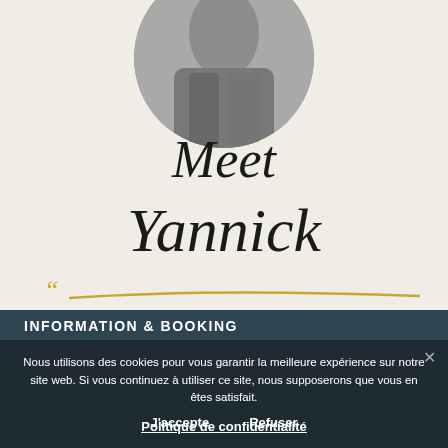[Figure (photo): Circular cropped black and white portrait photo of a person, shown from the torso up, partially cut at top]
Meet
Yannick
[Figure (illustration): Gold/yellow decorative handwritten underline swash beneath the name Yannick]
INFORMATION & BOOKING
From 48 € per night
From 239€
Call
+33 06 24 3
+33 02 99 80 74 24
Nous utilisons des cookies pour vous garantir la meilleure expérience sur notre site web. Si vous continuez à utiliser ce site, nous supposerons que vous en êtes satisfait.
J'accepte
Refuser
Politique de confidentialité